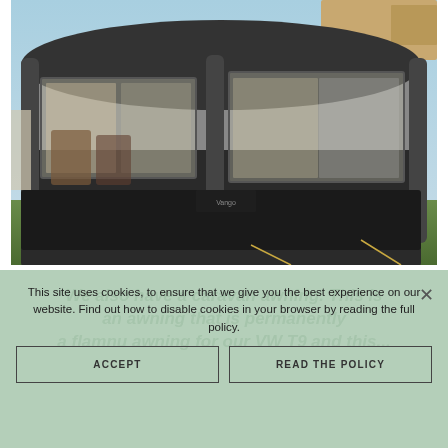[Figure (photo): Photograph of a large inflatable caravan awning (Vango brand) set up on a campsite. The awning is dark grey/black with transparent window panels. Camping chairs and equipment are visible inside. Blue sky in the background.]
We also have a caravan awning. This is an awning that is permanently a flamnu awning for our VW T9 and this...
This site uses cookies, to ensure that we give you the best experience on our website. Find out how to disable cookies in your browser by reading the full policy.